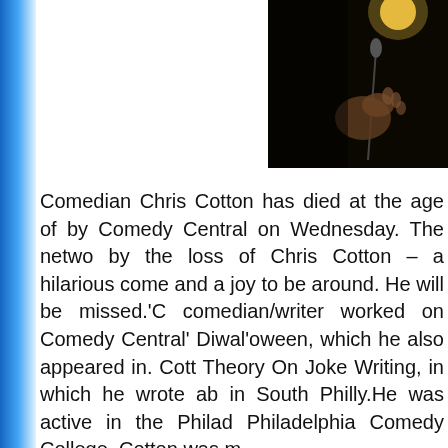[Figure (photo): Dark photo of a person on stage, likely comedian, with a microphone and a light visible in the upper area. The image is partially cropped on the right side.]
Comedian Chris Cotton has died at the age of [age], confirmed by Comedy Central on Wednesday. The network said 'We are saddened by the loss of Chris Cotton – a hilarious comedian, a brilliant writer and a joy to be around. He will be missed.'Cotton, a comedian/writer worked on Comedy Central's Drunk History: Diwal'oween, which he also appeared in. Cotton also wrote A Unified Theory On Joke Writing, in which he wrote about growing up poor in South Philly.He was active in the Philadelphia comedy scene, Philadelphia Comedy College. Cotton was mo...